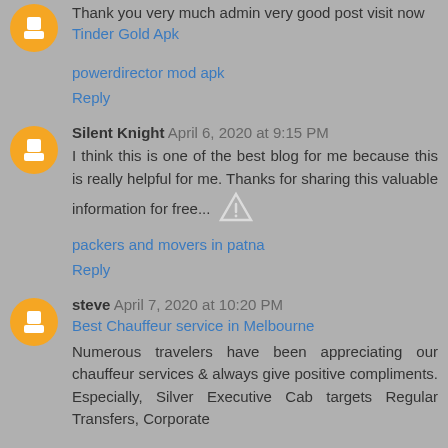Thank you very much admin very good post visit now
Tinder Gold Apk
powerdirector mod apk
Reply
Silent Knight  April 6, 2020 at 9:15 PM
I think this is one of the best blog for me because this is really helpful for me. Thanks for sharing this valuable information for free...
packers and movers in patna
Reply
steve  April 7, 2020 at 10:20 PM
Best Chauffeur service in Melbourne
Numerous travelers have been appreciating our chauffeur services & always give positive compliments. Especially, Silver Executive Cab targets Regular Transfers, Corporate